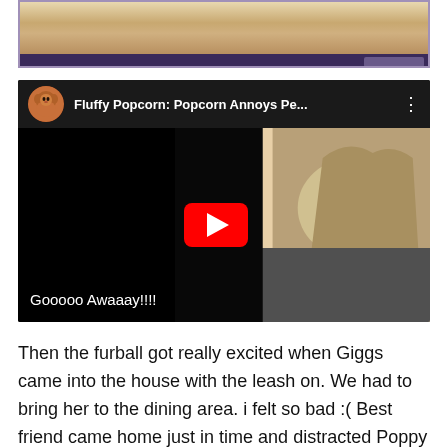[Figure (screenshot): Partial top image strip with purple border and dark purple progress/control bar at bottom]
[Figure (screenshot): YouTube video embed showing 'Fluffy Popcorn: Popcorn Annoys Pe...' with channel avatar (poodle dog), three-dot menu, black video frame with cat visible on right side, large red play button in center, and white caption text 'Gooooo Awaaay!!!!' at bottom left]
Then the furball got really excited when Giggs came into the house with the leash on. We had to bring her to the dining area. i felt so bad :( Best friend came home just in time and distracted Poppy with strawberries. Haha! it worked (surprise surprise). :) But the excitement returned